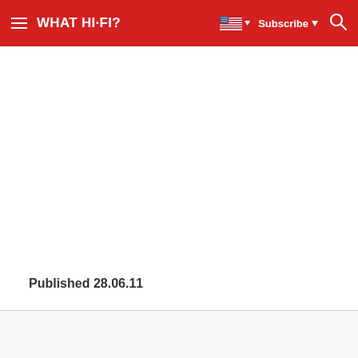WHAT HI-FI?  Subscribe
Published 28.06.11